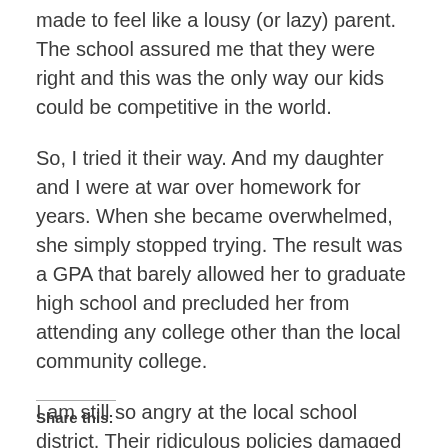made to feel like a lousy (or lazy) parent. The school assured me that they were right and this was the only way our kids could be competitive in the world.
So, I tried it their way. And my daughter and I were at war over homework for years. When she became overwhelmed, she simply stopped trying. The result was a GPA that barely allowed her to graduate high school and precluded her from attending any college other than the local community college.
I am still so angry at the local school district. Their ridiculous policies damaged my daughter and damaged our relationship. They should be ashamed.
Share this: